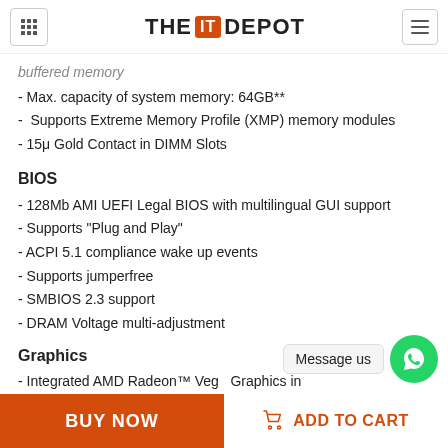THE IT DEPOT
buffered memory
- Max. capacity of system memory: 64GB**
- Supports Extreme Memory Profile (XMP) memory modules
- 15μ Gold Contact in DIMM Slots
BIOS
- 128Mb AMI UEFI Legal BIOS with multilingual GUI support
- Supports "Plug and Play"
- ACPI 5.1 compliance wake up events
- Supports jumperfree
- SMBIOS 2.3 support
- DRAM Voltage multi-adjustment
Graphics
- Integrated AMD Radeon™ Vega Graphics in Ryzen 2000 Series APU*